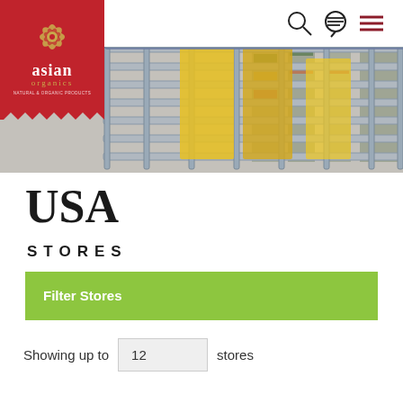[Figure (screenshot): Asian Organics website header with logo on red background, navigation icons (search, chat, menu), and a hero photo of a grocery store shopping cart with blurred store shelves in the background.]
USA
STORES
Filter Stores
Showing up to 12 stores